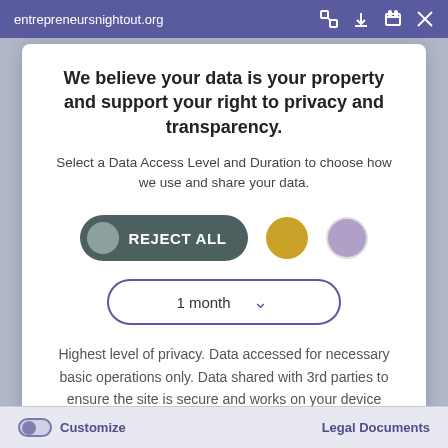entrepreneursnightout.org
We believe your data is your property and support your right to privacy and transparency.
Select a Data Access Level and Duration to choose how we use and share your data.
[Figure (infographic): Three toggle/selection buttons: REJECT ALL pill button (dark teal with grey circle), gold circle button, lavender circle button]
[Figure (infographic): Dropdown selector showing '1 month' with chevron arrow, bordered with purple outline]
Highest level of privacy. Data accessed for necessary basic operations only. Data shared with 3rd parties to ensure the site is secure and works on your device
Save my preferences
Customize   Legal Documents